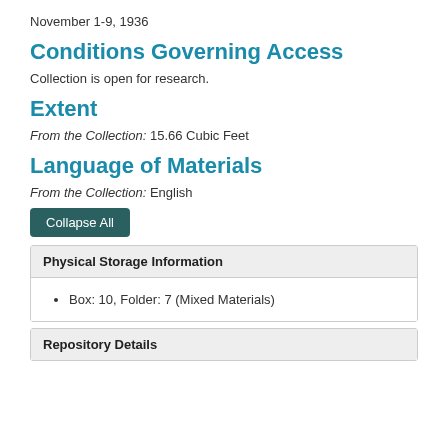November 1-9, 1936
Conditions Governing Access
Collection is open for research.
Extent
From the Collection: 15.66 Cubic Feet
Language of Materials
From the Collection: English
Collapse All
Physical Storage Information
Box: 10, Folder: 7 (Mixed Materials)
Repository Details